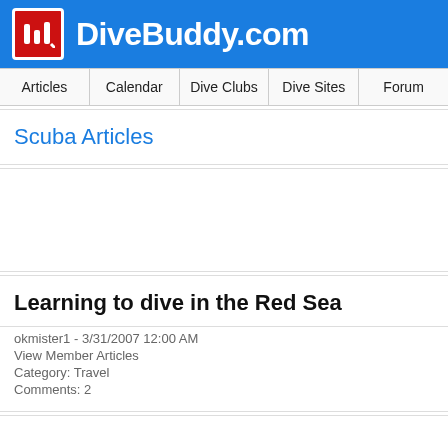DiveBuddy.com
Articles | Calendar | Dive Clubs | Dive Sites | Forum
Scuba Articles
[Figure (other): Advertisement banner placeholder (empty white box)]
Learning to dive in the Red Sea
okmister1 - 3/31/2007 12:00 AM
View Member Articles
Category: Travel
Comments: 2
(partial article title cut off at bottom)